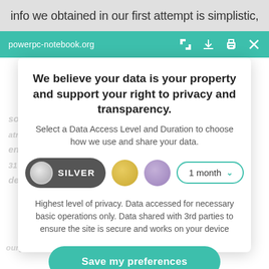info we obtained in our first attempt is simplistic,
powerpc-notebook.org
sorts of designators, which are present in Altium... enabling/disabling... from the KiCad... detailed columns...
We believe your data is your property and support your right to privacy and transparency.
Select a Data Access Level and Duration to choose how we use and share your data.
[Figure (infographic): Privacy level selector with SILVER pill button, gold circle, purple circle, and 1 month dropdown]
Highest level of privacy. Data accessed for necessary basic operations only. Data shared with 3rd parties to ensure the site is secure and works on your device
Save my preferences
Customize
Privacy policy
ourgitato... design...